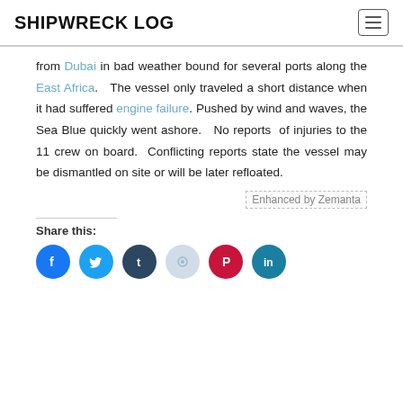SHIPWRECK LOG
from Dubai in bad weather bound for several ports along the East Africa. The vessel only traveled a short distance when it had suffered engine failure. Pushed by wind and waves, the Sea Blue quickly went ashore. No reports of injuries to the 11 crew on board. Conflicting reports state the vessel may be dismantled on site or will be later refloated.
[Figure (logo): Enhanced by Zemanta logo/badge]
Share this: